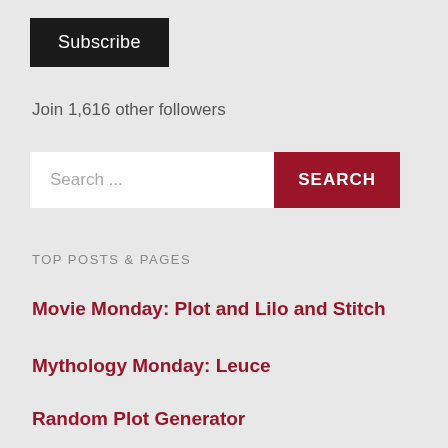Subscribe
Join 1,616 other followers
[Figure (screenshot): Search bar with text input field and dark red SEARCH button]
TOP POSTS & PAGES
Movie Monday: Plot and Lilo and Stitch
Mythology Monday: Leuce
Random Plot Generator